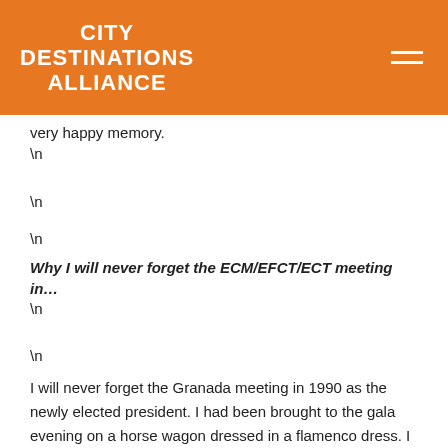CITY DESTINATIONS ALLIANCE
very happy memory.
\n
\n
\n
Why I will never forget the ECM/EFCT/ECT meeting in…
\n
\n
I will never forget the Granada meeting in 1990 as the newly elected president. I had been brought to the gala evening on a horse wagon dressed in a flamenco dress. I was placed in the middle of the Spanish dignitaries up on the podium of a night club looking down at my colleagues. None of my neighbours could